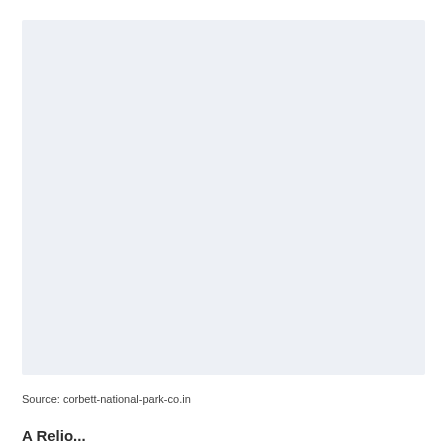[Figure (photo): A large light blue-gray placeholder image area occupying most of the upper portion of the page]
Source: corbett-national-park-co.in
A Reliance...